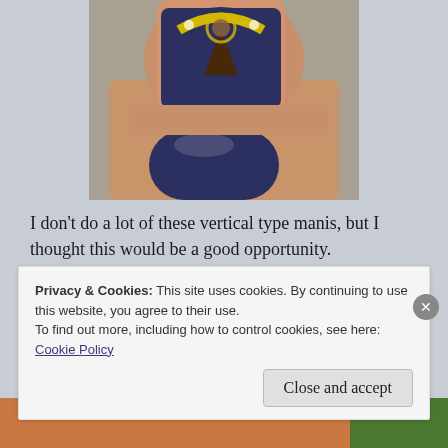[Figure (photo): Close-up photo of two fingernails painted dark navy blue, with one nail featuring decorative art depicting a figure (Baby Jesus) with yellow/golden details on a dark background.]
I don't do a lot of these vertical type manis, but I thought this would be a good opportunity.
Here's a close up of my Baby Jesus nail:
[Figure (photo): Partial bottom strip of a close-up nail art photo, showing warm orange/skin tones and green at right edge.]
Privacy & Cookies: This site uses cookies. By continuing to use this website, you agree to their use.
To find out more, including how to control cookies, see here: Cookie Policy
Close and accept